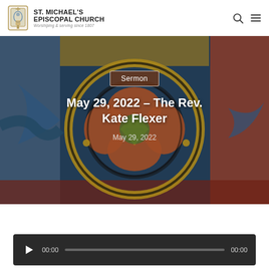ST. MICHAEL'S EPISCOPAL CHURCH — Worshiping & serving since 1807
[Figure (photo): Stained glass window with colorful circular geometric pattern in blue, orange, green, red, and yellow tones]
Sermon
May 29, 2022 – The Rev. Kate Flexer
May 29, 2022
[Figure (other): Audio player bar with play button, 00:00 timestamps, and a progress bar on dark background]